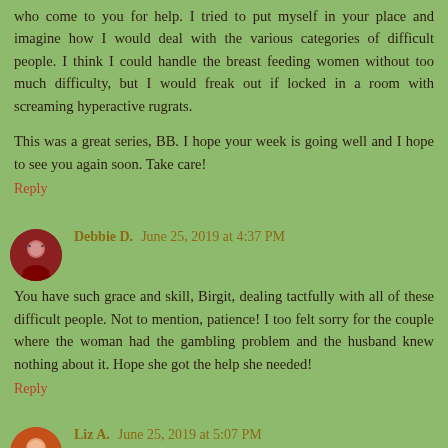who come to you for help. I tried to put myself in your place and imagine how I would deal with the various categories of difficult people. I think I could handle the breast feeding women without too much difficulty, but I would freak out if locked in a room with screaming hyperactive rugrats.
This was a great series, BB. I hope your week is going well and I hope to see you again soon. Take care!
Reply
Debbie D.  June 25, 2019 at 4:37 PM
You have such grace and skill, Birgit, dealing tactfully with all of these difficult people. Not to mention, patience! I too felt sorry for the couple where the woman had the gambling problem and the husband knew nothing about it. Hope she got the help she needed!
Reply
Liz A.  June 25, 2019 at 5:07 PM